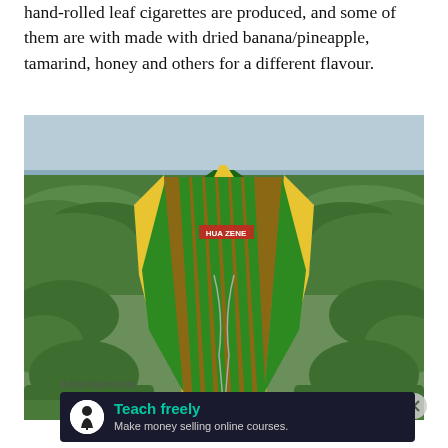hand-rolled leaf cigarettes are produced, and some of them are with made with dried banana/pineapple, tamarind, honey and others for a different flavour.
[Figure (photo): View from inside a yellow and green wooden boat looking forward over the bow, surrounded by dense green water hyacinth vegetation on a lake or river.]
Advertisements
[Figure (other): Advertisement banner: 'Teach freely — Make money selling online courses.' with a tree/person icon on dark background.]